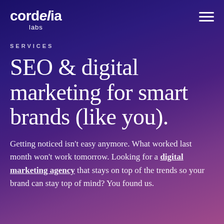cordelia labs
SERVICES
SEO & digital marketing for smart brands (like you).
Getting noticed isn't easy anymore. What worked last month won't work tomorrow. Looking for a digital marketing agency that stays on top of the trends so your brand can stay top of mind? You found us.